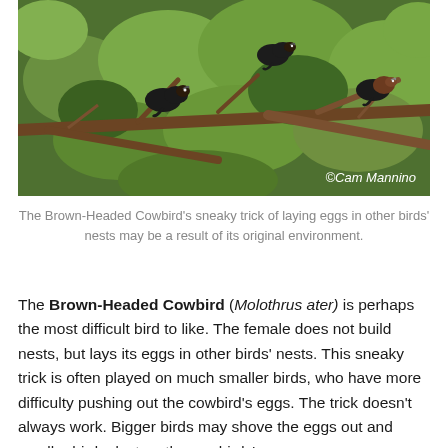[Figure (photo): Photo of Brown-Headed Cowbirds perched on tree branches among green leafy foliage. Watermark reads '©Cam Mannino' in white italic text at bottom right.]
The Brown-Headed Cowbird's sneaky trick of laying eggs in other birds' nests may be a result of its original environment.
The Brown-Headed Cowbird (Molothrus ater) is perhaps the most difficult bird to like. The female does not build nests, but lays its eggs in other birds' nests. This sneaky trick is often played on much smaller birds, who have more difficulty pushing out the cowbird's eggs. The trick doesn't always work. Bigger birds may shove the eggs out and smaller birds destroy the cowbirds' eggs or